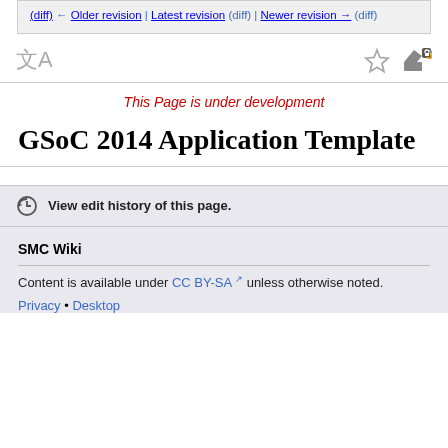(diff) ← Older revision | Latest revision (diff) | Newer revision → (diff)
This Page is under development
GSoC 2014 Application Template
View edit history of this page.
SMC Wiki
Content is available under CC BY-SA unless otherwise noted.
Privacy • Desktop